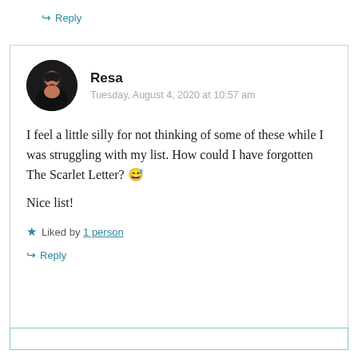↪ Reply
Resa
Tuesday, August 4, 2020 at 10:57 am
I feel a little silly for not thinking of some of these while I was struggling with my list. How could I have forgotten The Scarlet Letter? 😅
Nice list!
★ Liked by 1 person
↪ Reply